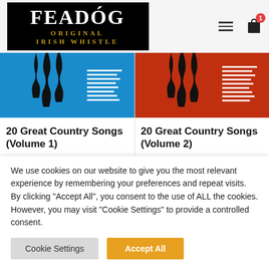[Figure (logo): Feadóg Original Irish Whistle logo — white text on black background with gold subtitle]
[Figure (photo): Blue album cover - 20 Great Country Songs Volume 1]
20 Great Country Songs (Volume 1)
[Figure (photo): Red album cover - 20 Great Country Songs Volume 2]
20 Great Country Songs (Volume 2)
We use cookies on our website to give you the most relevant experience by remembering your preferences and repeat visits. By clicking "Accept All", you consent to the use of ALL the cookies. However, you may visit "Cookie Settings" to provide a controlled consent.